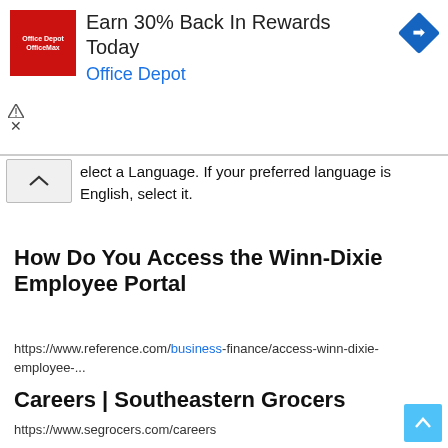[Figure (screenshot): Office Depot / OfficeMax advertisement banner with red logo, text 'Earn 30% Back In Rewards Today' and 'Office Depot', and a blue diamond navigation icon on the right.]
elect a Language. If your preferred language is English, select it.
How Do You Access the Winn-Dixie Employee Portal
https://www.reference.com/business-finance/access-winn-dixie-employee-...
Careers | Southeastern Grocers
https://www.segrocers.com/careers